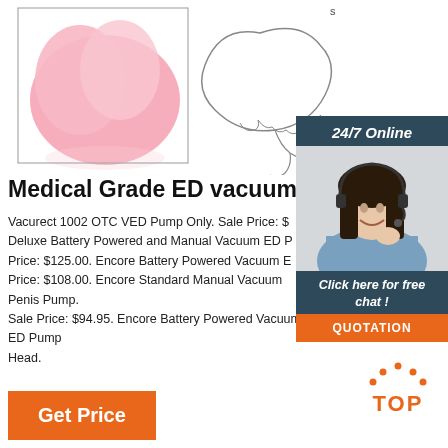[Figure (photo): Top portion showing a pink anatomical shape on the left and a line-drawing outline of a shape on the right, product images for vacuum pump]
Medical Grade ED vacuum pump
Vacurect 1002 OTC VED Pump Only. Sale Price: $... Deluxe Battery Powered and Manual Vacuum ED P... Price: $125.00. Encore Battery Powered Vacuum E... Price: $108.00. Encore Standard Manual Vacuum Penis Pump. Sale Price: $94.95. Encore Battery Powered Vacuum ED Pump Head.
[Figure (photo): Customer service representative woman with headset smiling, inside a dark teal widget panel showing 24/7 Online, Click here for free chat, and QUOTATION button]
[Figure (other): Orange TOP navigation button with dot pattern above the text TOP]
[Figure (other): Orange Get Price button at bottom left]